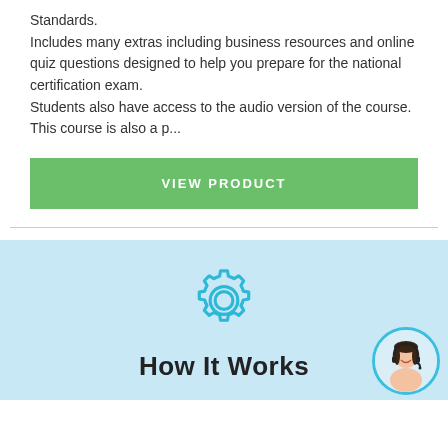Standards.
Includes many extras including business resources and online quiz questions designed to help you prepare for the national certification exam.
Students also have access to the audio version of the course.
This course is also a p...
[Figure (other): Green button labeled VIEW PRODUCT]
[Figure (illustration): Light blue section with a gear/settings icon and 'How It Works' heading, with a circular avatar of a woman with headset in the bottom right corner]